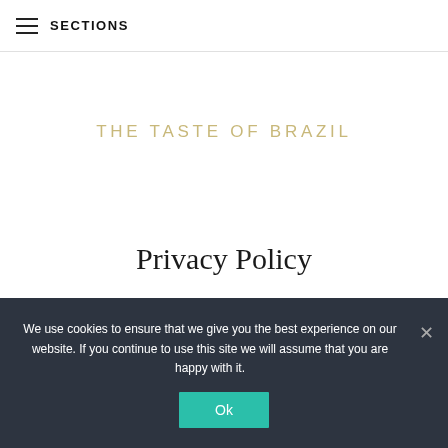≡ SECTIONS
THE TASTE OF BRAZIL
Privacy Policy
We use cookies to ensure that we give you the best experience on our website. If you continue to use this site we will assume that you are happy with it.